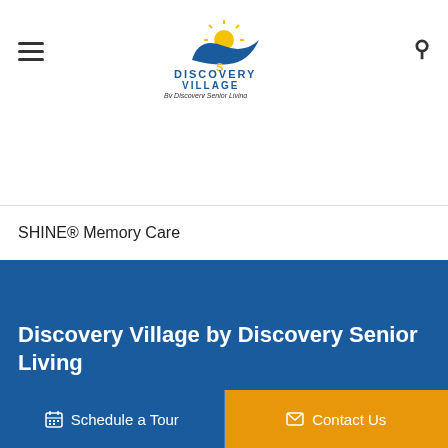[Figure (logo): Discovery Village by Discovery Senior Living logo with swoosh bird and sun graphic]
SHINE® Memory Care
Skilled Nursing
Respite Care
Discovery Village by Discovery Senior Living
Schedule a Tour
Contact Us